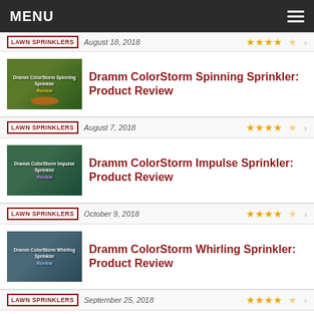MENU
LAWN SPRINKLERS  August 18, 2018  ★★★★☆
Dramm ColorStorm Spinning Sprinkler: Product Review
LAWN SPRINKLERS  August 7, 2018  ★★★★☆
Dramm ColorStorm Impulse Sprinkler: Product Review
LAWN SPRINKLERS  October 9, 2018  ★★★★☆
Dramm ColorStorm Whirling Sprinkler: Product Review
LAWN SPRINKLERS  September 25, 2018  ★★★★☆
Melnor XT Turbo Oscillating Sprinkler with Flow Control: Product Review